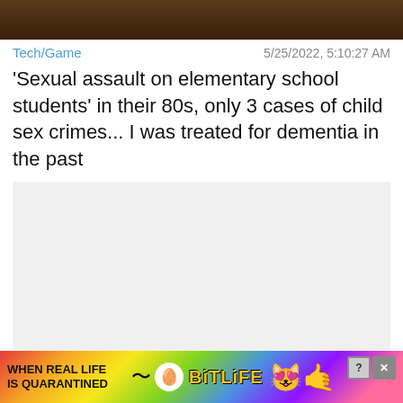[Figure (photo): Partial image at top of page, dark brown tones, appears to be a close-up of food or similar object]
Tech/Game    5/25/2022, 5:10:27 AM
'Sexual assault on elementary school students' in their 80s, only 3 cases of child sex crimes... I was treated for dementia in the past
[Figure (other): Light gray content placeholder box]
Tech/Game    6/6/2022, 12:2...
[Figure (screenshot): BitLife advertisement banner at bottom: 'WHEN REAL LIFE IS QUARANTINED' with BitLife logo and emoji icons, colorful rainbow gradient background]